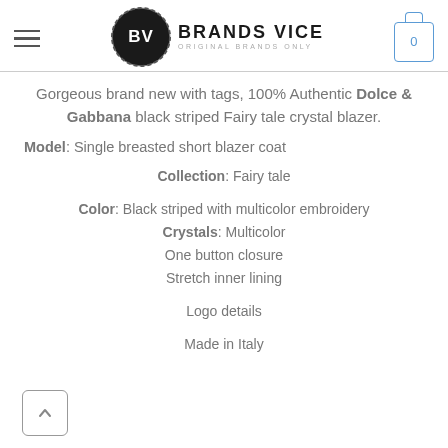Brands Vice — Original Brands Only
Gorgeous brand new with tags, 100% Authentic Dolce & Gabbana black striped Fairy tale crystal blazer.
Model: Single breasted short blazer coat
Collection: Fairy tale
Color: Black striped with multicolor embroidery
Crystals: Multicolor
One button closure
Stretch inner lining
Logo details
Made in Italy